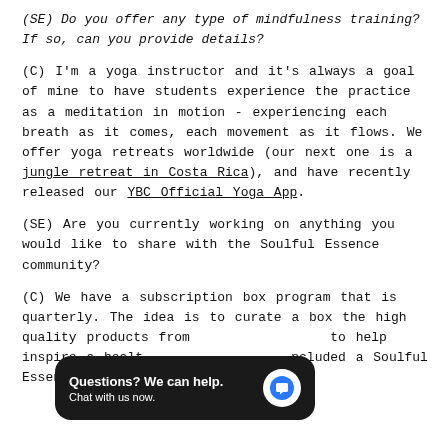(SE) Do you offer any type of mindfulness training? If so, can you provide details?
(C) I'm a yoga instructor and it's always a goal of mine to have students experience the practice as a meditation in motion - experiencing each breath as it comes, each movement as it flows. We offer yoga retreats worldwide (our next one is a jungle retreat in Costa Rica), and have recently released our YBC Official Yoga App.
(SE) Are you currently working on anything you would like to share with the Soulful Essence community?
(C) We have a subscription box program that is quarterly. The idea is to curate a box the high quality products from [obscured] to help inspire a healt[obscured]ncluded a Soulful Essen[obscured] which was a huge hit!
[Figure (screenshot): Chat overlay widget showing 'Questions? We can help. Chat with us now.' with a blue speech bubble icon on dark background.]